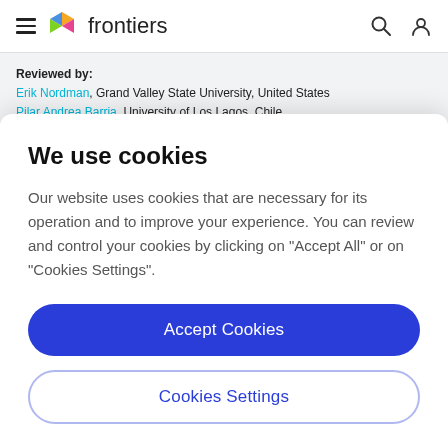frontiers (navigation bar with hamburger menu, logo, search and user icons)
Reviewed by: Erik Nordman, Grand Valley State University, United States
Pilar Andrea Barria, University of Los Lagos, Chile
Copyright © 2021 Quagliolo, Comino and Pezzoli. This is an open-access article distributed under the terms of the Creative Commons Attribution License (CC BY). The use, distribution or reproduction in other forums is
We use cookies
Our website uses cookies that are necessary for its operation and to improve your experience. You can review and control your cookies by clicking on "Accept All" or on "Cookies Settings".
Accept Cookies
Cookies Settings